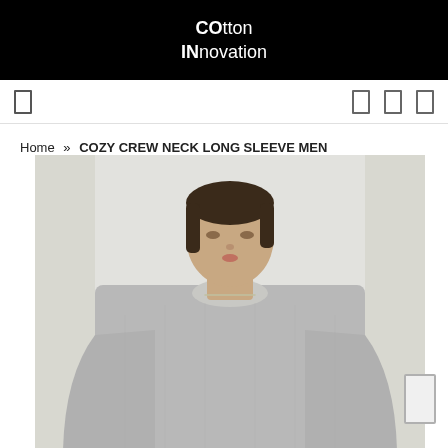COtton INnovation
Home » COZY CREW NECK LONG SLEEVE MEN
[Figure (photo): A male model wearing a grey heathered crew neck long sleeve sweater, photographed from chest up against a light grey/white background. The model has dark hair and is wearing a thin necklace.]